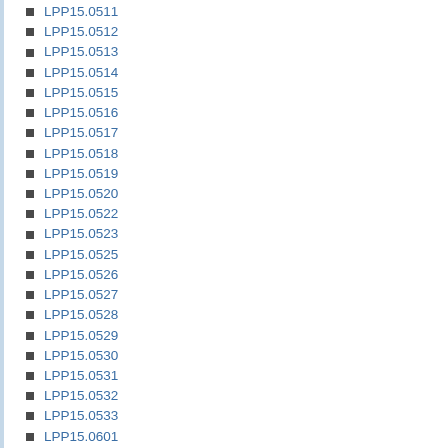LPP15.0511
LPP15.0512
LPP15.0513
LPP15.0514
LPP15.0515
LPP15.0516
LPP15.0517
LPP15.0518
LPP15.0519
LPP15.0520
LPP15.0522
LPP15.0523
LPP15.0525
LPP15.0526
LPP15.0527
LPP15.0528
LPP15.0529
LPP15.0530
LPP15.0531
LPP15.0532
LPP15.0533
LPP15.0601
LPP15.0602
LPP15.0603
LPP15.0604
LPP15.0605
LPP15.0606